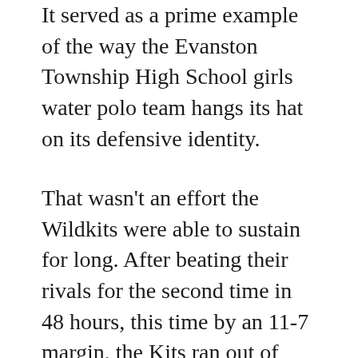It served as a prime example of the way the Evanston Township High School girls water polo team hangs its hat on its defensive identity.
That wasn't an effort the Wildkits were able to sustain for long. After beating their rivals for the second time in 48 hours, this time by an 11-7 margin, the Kits ran out of energy in the second game of a “doubleheader” and fell 10-1 to unbeaten Stevenson in the Patriots’ home pool.
Evanston found a second wind to conclude the day with a 12-7 triumph over Mother McAuley a couple of hours later and improved to 12-5-1